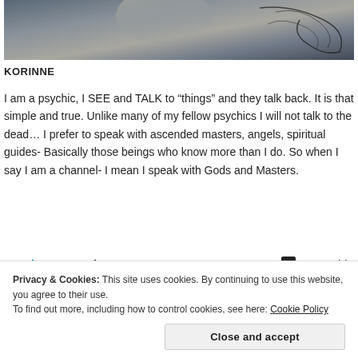[Figure (photo): Banner/header image with dark fantasy or mystical aesthetic — dark grey and light grey tones with decorative floral/scroll design overlay on right side]
KORINNE
I am a psychic, I SEE and TALK to “things” and they talk back. It is that simple and true. Unlike many of my fellow psychics I will not talk to the dead… I prefer to speak with ascended masters, angels, spiritual guides- Basically those beings who know more than I do. So when I say I am a channel- I mean I speak with Gods and Masters.
[Figure (logo): WordPress Works Best advertisement with WordPress logo in blue and Pressable logo]
REPORT THIS AD
Privacy & Cookies: This site uses cookies. By continuing to use this website, you agree to their use.
To find out more, including how to control cookies, see here: Cookie Policy
Close and accept